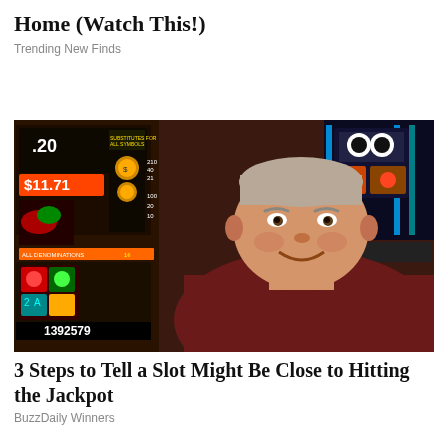Home (Watch This!)
Trending New Finds
[Figure (photo): Middle-aged smiling man in a dark red shirt standing in front of illuminated casino slot machines showing numbers including $11.71 and 1392579]
3 Steps to Tell a Slot Might Be Close to Hitting the Jackpot
BuzzDaily Winners